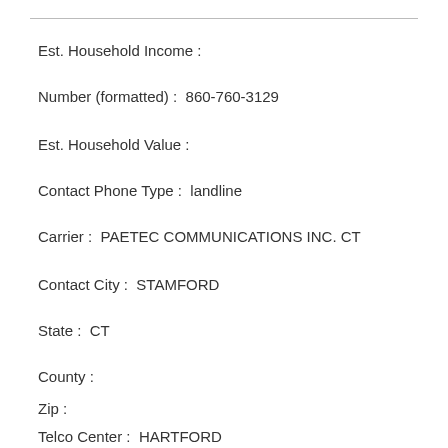Est. Household Income :
Number (formatted) :  860-760-3129
Est. Household Value :
Contact Phone Type :  landline
Carrier :  PAETEC COMMUNICATIONS INC. CT
Contact City :  STAMFORD
State :  CT
County :
Zip :
Telco Center :  HARTFORD